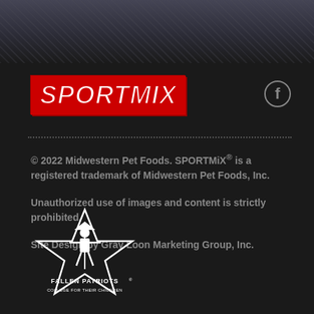[Figure (photo): Dark textured background photo at top of page, appears to show dark fabric or athletic material]
[Figure (logo): SPORTMiX logo in bold italic white text on red background with red border]
[Figure (logo): Facebook icon circle with 'f' on right side]
© 2022 Midwestern Pet Foods. SPORTMiX® is a registered trademark of Midwestern Pet Foods, Inc.
Unauthorized use of images and content is strictly prohibited.
Site Design by Gray Loon Marketing Group, Inc.
[Figure (logo): Fallen Patriots logo - white star with soldier figure inside, text 'FALLEN PATRIOTS' and 'COLLEGE FOR THEIR CHILDREN' below]